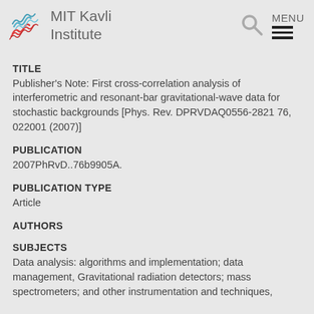MIT Kavli Institute
TITLE
Publisher's Note: First cross-correlation analysis of interferometric and resonant-bar gravitational-wave data for stochastic backgrounds [Phys. Rev. DPRVDAQ0556-2821 76, 022001 (2007)]
PUBLICATION
2007PhRvD..76b9905A.
PUBLICATION TYPE
Article
AUTHORS
SUBJECTS
Data analysis: algorithms and implementation; data management, Gravitational radiation detectors; mass spectrometers; and other instrumentation and techniques,